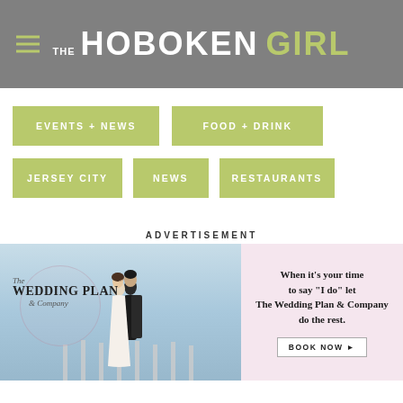THE HOBOKEN GIRL
EVENTS + NEWS
FOOD + DRINK
JERSEY CITY
NEWS
RESTAURANTS
ADVERTISEMENT
[Figure (photo): Wedding Plan & Company advertisement banner showing a couple kissing on a dock with waterfront background. Text reads: When it's your time to say "I do" let The Wedding Plan & Company do the rest. BOOK NOW button.]